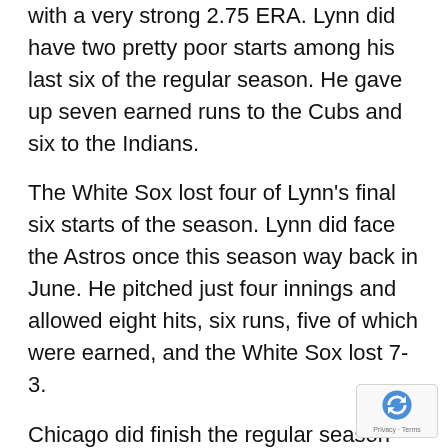with a very strong 2.75 ERA. Lynn did have two pretty poor starts among his last six of the regular season. He gave up seven earned runs to the Cubs and six to the Indians.
The White Sox lost four of Lynn's final six starts of the season. Lynn did face the Astros once this season way back in June. He pitched just four innings and allowed eight hits, six runs, five of which were earned, and the White Sox lost 7-3.
Chicago did finish the regular season with six wins in its final seven games. In those six wins, the White Sox averaged 6.5 runs per game. The offense is going to be the difference in this game as well as the series. In the seven games, these two teams played this seas… Chicago averaged just 3.28 runs a game.